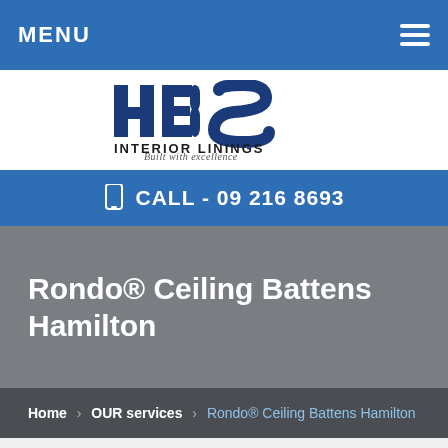MENU
[Figure (logo): HBS Interior Linings logo with tagline 'Built with excellence']
CALL - 09 216 8693
Rondo® Ceiling Battens Hamilton
Home > OUR services > Rondo® Ceiling Battens Hamilton